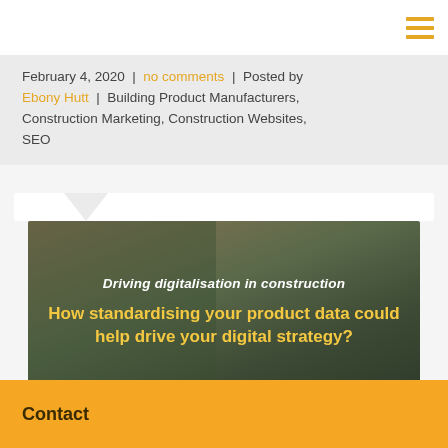≡ (hamburger menu)
February 4, 2020  |  no comments  |  Posted by Ebony Hutt  |  Building Product Manufacturers, Construction Marketing, Construction Websites, SEO
[Figure (photo): Construction worker in hard hat overlaid with text: 'Driving digitalisation in construction — How standardising your product data could help drive your digital strategy?']
Contact